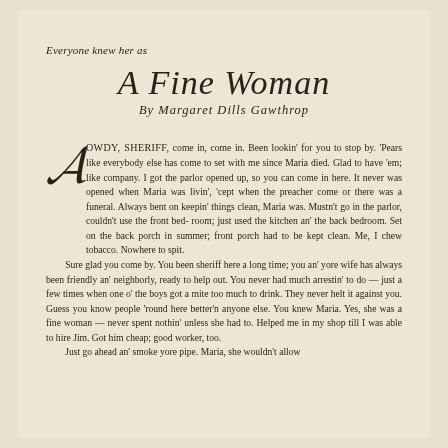Everyone knew her as
A Fine Woman
By Margaret Dills Gawthrop
HOWDY, SHERIFF, come in, come in. Been lookin' for you to stop by. 'Pears like everybody else has come to set with me since Maria died. Glad to have 'em; like company. I got the parlor opened up, so you can come in here. It never was opened when Maria was livin', 'cept when the preacher come or there was a funeral. Always bent on keepin' things clean, Maria was. Mustn't go in the parlor, couldn't use the front bedroom; just used the kitchen an' the back bedroom. Set on the back porch in summer; front porch had to be kept clean. Me, I chew tobacco. Nowhere to spit.
	Sure glad you come by. You been sheriff here a long time; you an' yore wife has always been friendly an' neighborly, ready to help out. You never had much arrestin' to do — just a few times when one o' the boys got a mite too much to drink. They never helt it against you. Guess you know people 'round here better'n anyone else. You knew Maria. Yes, she was a fine woman — never spent nothin' unless she had to. Helped me in my shop till I was able to hire Jim. Got him cheap; good worker, too.
	Just go ahead an' smoke yore pipe. Maria, she wouldn't allow